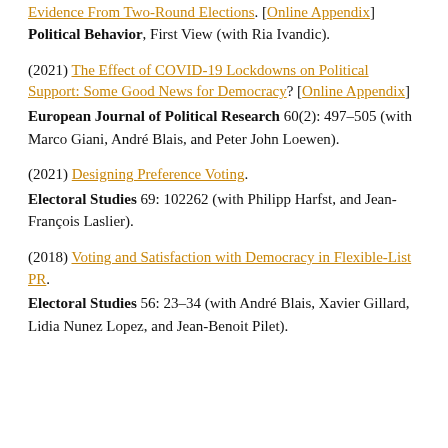Evidence From Two-Round Elections. [Online Appendix] Political Behavior, First View (with Ria Ivandic).
(2021) The Effect of COVID-19 Lockdowns on Political Support: Some Good News for Democracy? [Online Appendix] European Journal of Political Research 60(2): 497–505 (with Marco Giani, André Blais, and Peter John Loewen).
(2021) Designing Preference Voting. Electoral Studies 69: 102262 (with Philipp Harfst, and Jean-François Laslier).
(2018) Voting and Satisfaction with Democracy in Flexible-List PR. Electoral Studies 56: 23–34 (with André Blais, Xavier Gillard, Lidia Nunez Lopez, and Jean-Benoit Pilet).